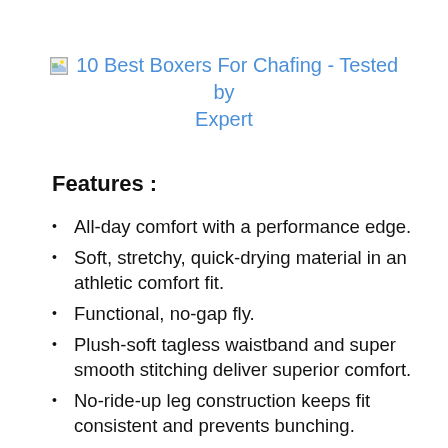10 Best Boxers For Chafing - Tested by Expert
Features :
All-day comfort with a performance edge.
Soft, stretchy, quick-drying material in an athletic comfort fit.
Functional, no-gap fly.
Plush-soft tagless waistband and super smooth stitching deliver superior comfort.
No-ride-up leg construction keeps fit consistent and prevents bunching.